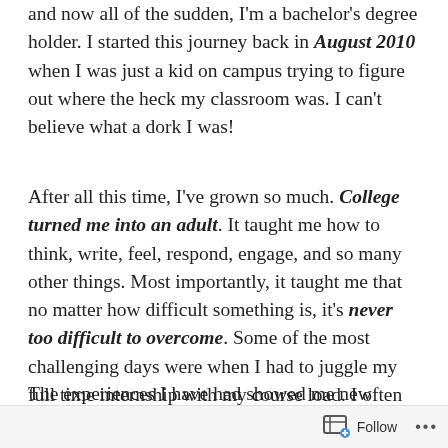and now all of the sudden, I'm a bachelor's degree holder. I started this journey back in August 2010 when I was just a kid on campus trying to figure out where the heck my classroom was. I can't believe what a dork I was!
After all this time, I've grown so much. College turned me into an adult. It taught me how to think, write, feel, respond, engage, and so many other things. Most importantly, it taught me that no matter how difficult something is, it's never too difficult to overcome. Some of the most challenging days were when I had to juggle my full time internship with my course load. I often wondered if that would be the day I just gave up and quit. As you might have noticed, I didn't give up!
The experiences I have had showed me new things about myself I didn't know. They showed me about life
Follow